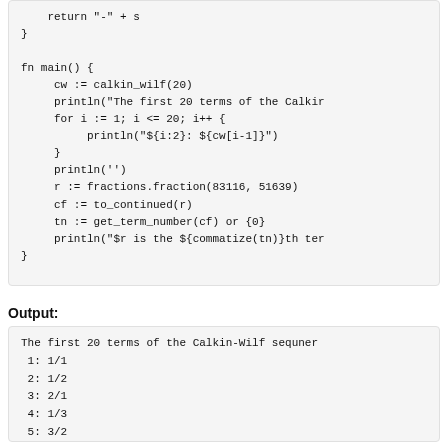Code block showing fn main() function with calkin_wilf, println, for loop, fractions, to_continued, get_term_number calls
Output:
The first 20 terms of the Calkin-Wilf sequner
 1: 1/1
 2: 1/2
 3: 2/1
 4: 1/3
 5: 3/2